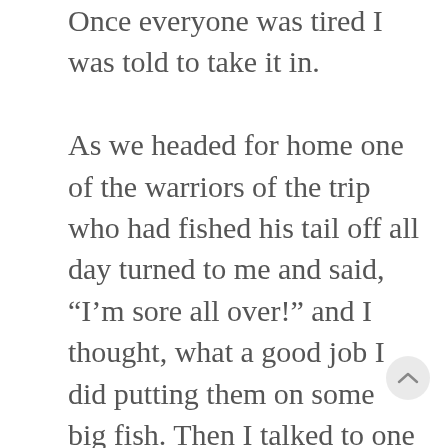Once everyone was tired I was told to take it in.

As we headed for home one of the warriors of the trip who had fished his tail off all day turned to me and said, “I’m sore all over!” and I thought, what a good job I did putting them on some big fish. Then I talked to one of the sponsors and told him what the soldier said and he explained to me, “You know that 80 % of his bones in his chest, shoulders, arms and back were broken when an IUD blew him up?” All I could say was Oh my God! You would have never known, he fished like he never had a problem and will most likely be stoved up for a week or so getting over the trip, yet all of